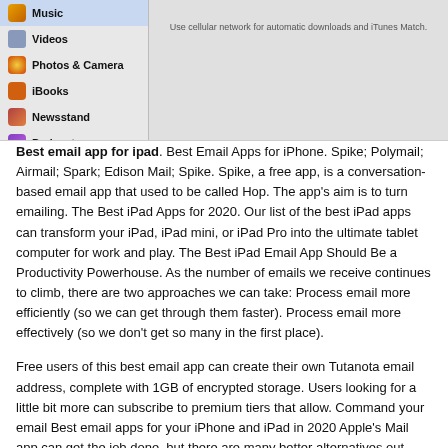[Figure (screenshot): Screenshot of iPad settings menu showing Music, Videos, Photos & Camera, iBooks, Newsstand, Podcasts menu items on the left, and a settings panel on the right with text 'Use cellular network for automatic downloads and iTunes Match.']
Best email app for ipad. Best Email Apps for iPhone. Spike; Polymail; Airmail; Spark; Edison Mail; Spike. Spike, a free app, is a conversation-based email app that used to be called Hop. The app's aim is to turn emailing. The Best iPad Apps for 2020. Our list of the best iPad apps can transform your iPad, iPad mini, or iPad Pro into the ultimate tablet computer for work and play. The Best iPad Email App Should Be a Productivity Powerhouse. As the number of emails we receive continues to climb, there are two approaches we can take: Process email more efficiently (so we can get through them faster). Process email more effectively (so we don't get so many in the first place).
Free users of this best email app can create their own Tutanota email address, complete with 1GB of encrypted storage. Users looking for a little bit more can subscribe to premium tiers that allow. Command your email Best email apps for your iPhone and iPad in 2020 Apple's Mail app can get the job done, but there are many better alternatives out there.